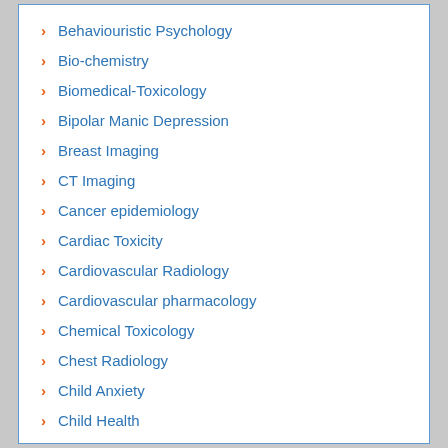Behaviouristic Psychology
Bio-chemistry
Biomedical-Toxicology
Bipolar Manic Depression
Breast Imaging
CT Imaging
Cancer epidemiology
Cardiac Toxicity
Cardiovascular Radiology
Cardiovascular pharmacology
Chemical Toxicology
Chest Radiology
Child Anxiety
Child Health
Child Mental Health